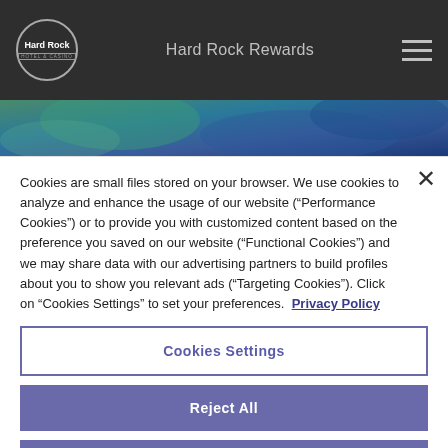Hard Rock Rewards
[Figure (photo): Partial hero image strip showing colorful background (teal, blue tones) at top of page]
Cookies are small files stored on your browser. We use cookies to analyze and enhance the usage of our website (“Performance Cookies”) or to provide you with customized content based on the preference you saved on our website (“Functional Cookies”) and we may share data with our advertising partners to build profiles about you to show you relevant ads (“Targeting Cookies”). Click on “Cookies Settings” to set your preferences.  Privacy Policy
Cookies Settings
Reject All
Accept All Cookies